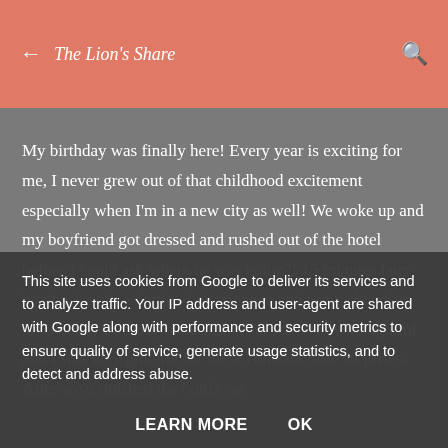← The Lion's Share 🔍
My birthday was finally here! Every year is exciting for me, I never grew out of that childhood excitement especially when I'm in a new city as well! We woke up and my boyfriend got dressed and rushed out of the hotel before I could ask where he was going?! 15 minutes later he's back with a bottle of champagne and some chocolate for a boozy birthday breakfast! That was really thoughtful and I was very grateful for these constant little surprises. After we'd finished the bottle we
This site uses cookies from Google to deliver its services and to analyze traffic. Your IP address and user-agent are shared with Google along with performance and security metrics to ensure quality of service, generate usage statistics, and to detect and address abuse.
LEARN MORE   OK